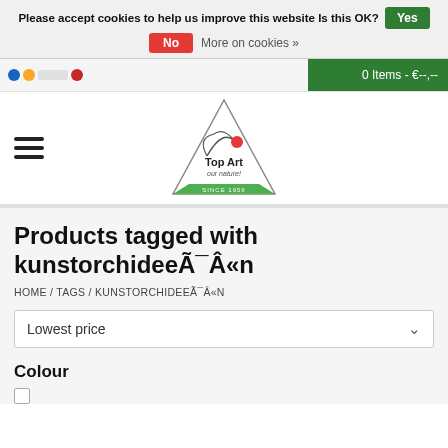Please accept cookies to help us improve this website Is this OK? Yes
No   More on cookies »
0 Items - €--,--
[Figure (logo): Top Art 'our nature!' logo — triangle shape with plant/leaf motif and red dot, text 'Top Art our nature! SINCE 1959']
Products tagged with kunstorchideeÃ¯Â«n
HOME / TAGS / KUNSTORCHIDEEÃ¯Â«N
Lowest price
Colour